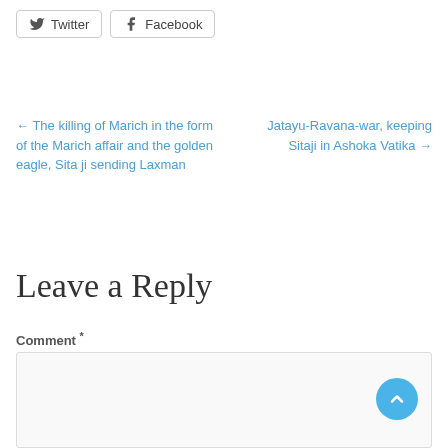[Figure (other): Twitter and Facebook social share buttons]
← The killing of Marich in the form of the Marich affair and the golden eagle, Sita ji sending Laxman
Jatayu-Ravana-war, keeping Sitaji in Ashoka Vatika →
Leave a Reply
Comment *
[Figure (other): Comment text area input box]